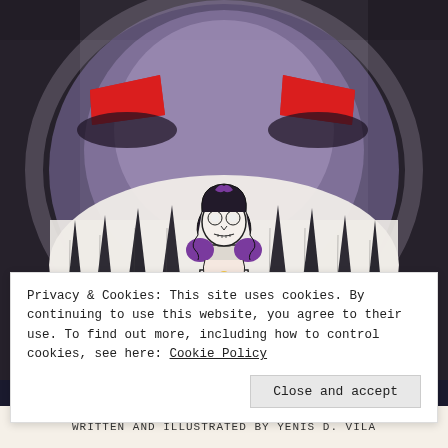[Figure (illustration): Dark gothic illustration showing a large monstrous face with red angular eyebrows/eyes on a purple and grey smoky background. In the center/lower portion of the face's mouth area, a small skeletal girl figure in a dress with purple accents and a purple bow stands among tall dark spiky tooth-like forms, hands clasped in a praying gesture.]
Privacy & Cookies: This site uses cookies. By continuing to use this website, you agree to their use. To find out more, including how to control cookies, see here: Cookie Policy
Close and accept
WRITTEN AND ILLUSTRATED BY Yenis D. Vila